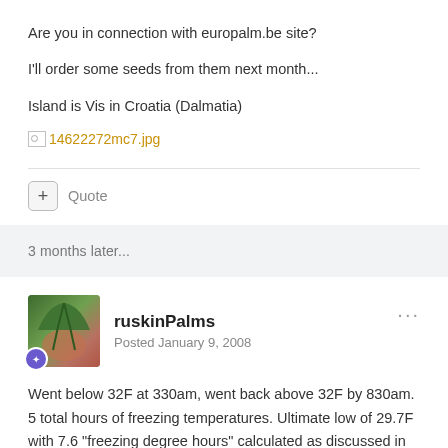Are you in connection with europalm.be site?
I'll order some seeds from them next month...
Island is Vis in Croatia (Dalmatia)
[Figure (other): Broken image link: 14622272mc7.jpg]
3 months later...
ruskinPalms
Posted January 9, 2008
Went below 32F at 330am, went back above 32F by 830am. 5 total hours of freezing temperatures. Ultimate low of 29.7F with 7.6 "freezing degree hours" calculated as discussed in the weather forum. Moderate winds varying from NNW to NNE all night, dewpoints in low teens, no frost. No overhead